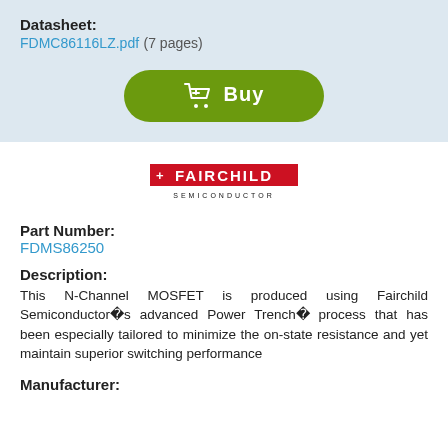Datasheet: FDMC86116LZ.pdf (7 pages)
Buy
[Figure (logo): Fairchild Semiconductor logo with red and black text]
Part Number: FDMS86250
Description: This N-Channel MOSFET is produced using Fairchild Semiconductor's advanced Power Trench® process that has been especially tailored to minimize the on-state resistance and yet maintain superior switching performance
Manufacturer: